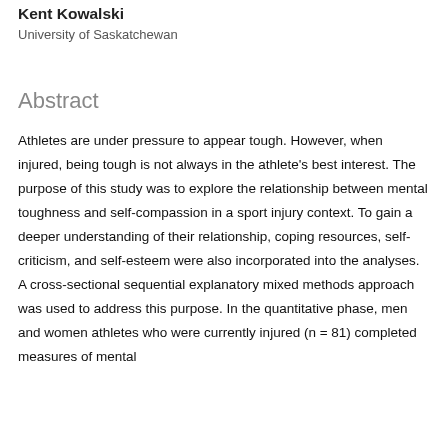Kent Kowalski
University of Saskatchewan
Abstract
Athletes are under pressure to appear tough. However, when injured, being tough is not always in the athlete's best interest. The purpose of this study was to explore the relationship between mental toughness and self-compassion in a sport injury context. To gain a deeper understanding of their relationship, coping resources, self-criticism, and self-esteem were also incorporated into the analyses. A cross-sectional sequential explanatory mixed methods approach was used to address this purpose. In the quantitative phase, men and women athletes who were currently injured (n = 81) completed measures of mental